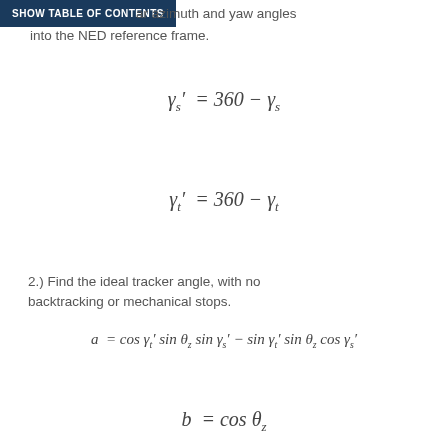ar azimuth and yaw angles into the NED reference frame.
2.) Find the ideal tracker angle, with no backtracking or mechanical stops.